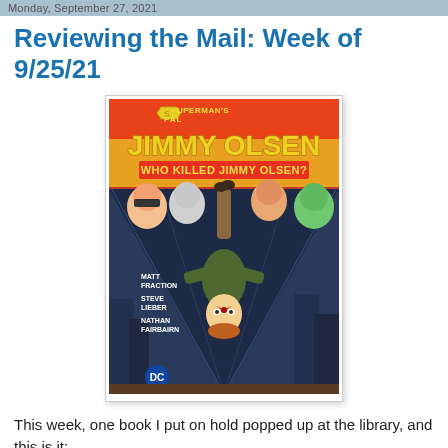Monday, September 27, 2021
Reviewing the Mail: Week of 9/25/21
[Figure (illustration): Book cover of Superman's Pal Jimmy Olsen: Who Killed Jimmy Olsen? by Matt Fraction, Steve Lieber, Nathan Fairbairn. Shows Jimmy Olsen upside-down with various characters peering at him from the edges of a tall building.]
This week, one book I put on hold popped up at the library, and this is it:
Superman's Pal Jimmy Olsen: Who Killed Jimmy Olsen? by